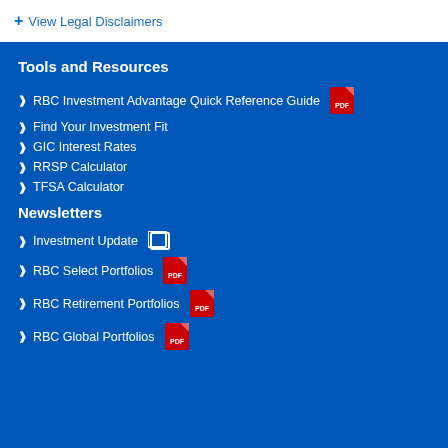+ View Legal Disclaimers
Tools and Resources
RBC Investment Advantage Quick Reference Guide
Find Your Investment Fit
GIC Interest Rates
RRSP Calculator
TFSA Calculator
Newsletters
Investment Update
RBC Select Portfolios
RBC Retirement Portfolios
RBC Global Portfolios